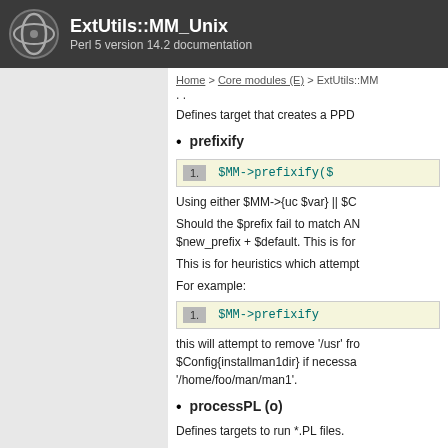ExtUtils::MM_Unix
Perl 5 version 14.2 documentation
Home > Core modules (E) > ExtUtils::MM
..
Defines target that creates a PPD
prefixify
[Figure (screenshot): Code box with line number 1 and code: $MM->prefixify($]
Using either $MM->{uc $var} || $C
Should the $prefix fail to match AN $new_prefix + $default. This is for
This is for heuristics which attempt
For example:
[Figure (screenshot): Code box with line number 1 and code: $MM->prefixify]
this will attempt to remove '/usr' fro $Config{installman1dir} if necessa '/home/foo/man/man1'.
processPL (o)
Defines targets to run *.PL files.